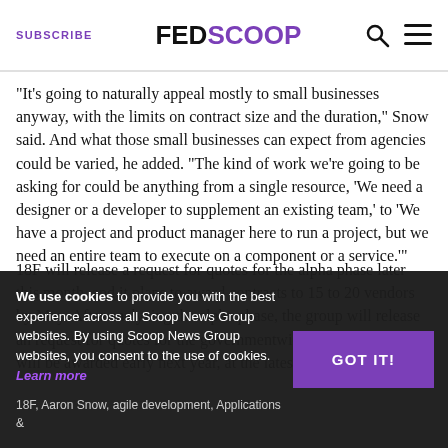SUBSCRIBE | FEDSCOOP
“It’s going to naturally appeal mostly to small businesses anyway, with the limits on contract size and the duration,” Snow said. And what those small businesses can expect from agencies could be varied, he added. “The kind of work we’re going to be asking for could be anything from a single resource, ‘We need a designer or a developer to supplement an existing team,’ to ‘We have a project and product manager here to run a project, but we need an entire team to execute on a component or a service.’”
18F will release a request for quotes for the alpha phase later this month, and it plans to award contracts to 15 to 20 vendors by May. After analyzing the alpha phase, the group will release an request for quotes for the governmentwide beta stage, which will be awarded early next year, at the latest.
We use cookies to provide you with the best experience across all Scoop News Group websites. By using Scoop News Group websites, you consent to the use of cookies. Learn more
18F, Aaron Snow, agile development, Applications &